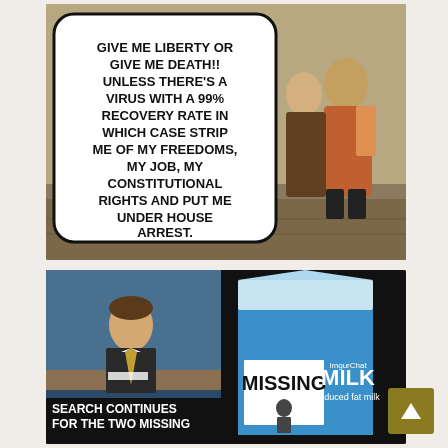[Figure (illustration): Meme image showing historical Founding Fathers painting with a speech bubble overlay reading: GIVE ME LIBERTY OR GIVE ME DEATH!! UNLESS THERE'S A VIRUS WITH A 99% RECOVERY RATE IN WHICH CASE STRIP ME OF MY FREEDOMS, MY JOB, MY CONSTITUTIONAL RIGHTS AND PUT ME UNDER HOUSE ARREST.]
[Figure (photo): Meme image with two panels: left shows a TV news anchor (resembling Ron Burgundy) at a desk with text 'SEARCH CONTINUES FOR THE TWO MISSING' and right shows a milk carton labeled 'MISSING' with a figure on it, branded MILK reduced fat milk (ImgurChat).]